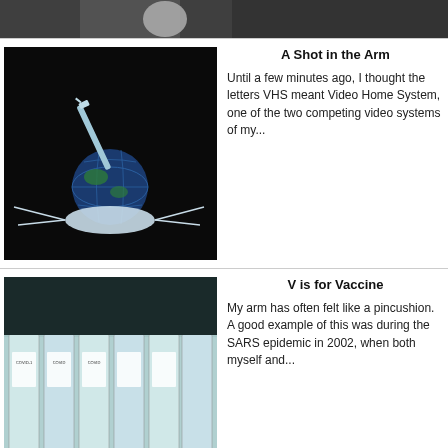[Figure (photo): Partial top strip of a photo showing a dark background with a light circular object]
[Figure (photo): A globe with a syringe stuck in it resting on a surgical mask, black background — article image for 'A Shot in the Arm']
A Shot in the Arm
Until a few minutes ago, I thought the letters VHS meant Video Home System, one of the two competing video systems of my...
[Figure (photo): Rows of COVID vaccine vials with white caps — article image for 'V is for Vaccine']
V is for Vaccine
My arm has often felt like a pincushion. A good example of this was during the SARS epidemic in 2002, when both myself and...
Health Insurance Germany
Health Insurance in Germany is compulsory and sometimes complicated, not to mention expensive (see here for our PKV Cost ...